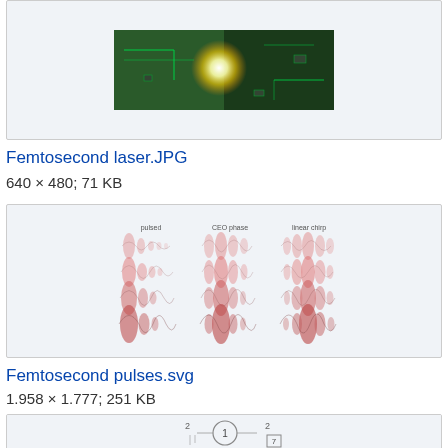[Figure (photo): Femtosecond laser in operation showing bright flash/plasma on a green circuit board]
Femtosecond laser.JPG
640 × 480; 71 KB
[Figure (illustration): Diagram showing femtosecond pulses in a grid: columns labeled 'pulsed', 'CEO phase', 'linear chirp'; 4 rows of waveform shapes in pink/red showing different pulse configurations]
Femtosecond pulses.svg
1.958 × 1.777; 251 KB
[Figure (illustration): Partial view of a diagram with circles and numbers 1, 2, 2 visible at bottom]